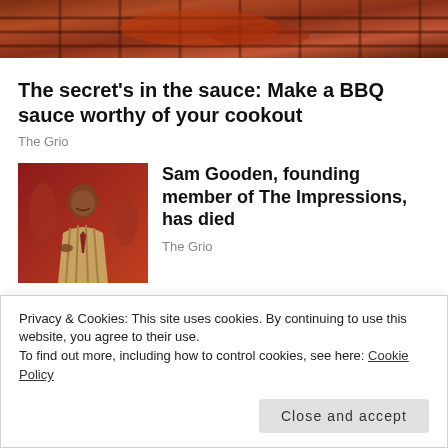[Figure (photo): Partial top image showing BBQ sauce with grill grates, cropped at top of page]
The secret’s in the sauce: Make a BBQ sauce worthy of your cookout
The Grio
[Figure (photo): Thumbnail photo of Sam Gooden, a man in a striped suit performing on stage with microphone and colorful background]
Sam Gooden, founding member of The Impressions, has died
The Grio
SHARE THIS:
Privacy & Cookies: This site uses cookies. By continuing to use this website, you agree to their use.
To find out more, including how to control cookies, see here: Cookie Policy
Close and accept